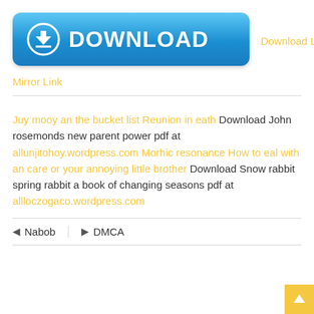[Figure (other): Blue gradient download button with circular download icon and white DOWNLOAD text, next to golden 'Download Link' text]
Mirror Link
Juy mooy an the bucket list Reunion in eath Download John rosemonds new parent power pdf at allunjitohoy.wordpress.com Morhic resonance How to eal with an care or your annoying little brother Download Snow rabbit spring rabbit a book of changing seasons pdf at allloczogaco.wordpress.com
Nabob   DMCA